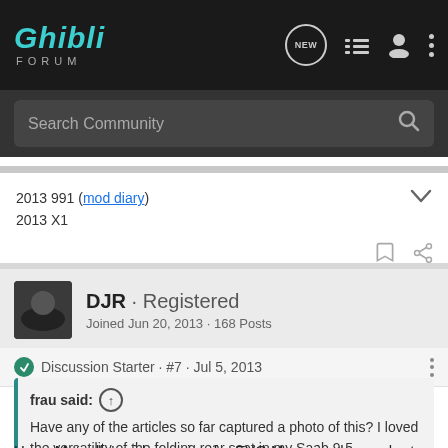Ghibli Forum
Search Community
2013 991 (mod diary)
2013 X1
DJR · Registered
Joined Jun 20, 2013 · 168 Posts
Discussion Starter · #7 · Jul 5, 2013
frau said:
Have any of the articles so far captured a photo of this? I loved the versatility of the folding rear seat in my Saab 9-5.
Harry Metcalfe's video review for EVO Magazine has a short